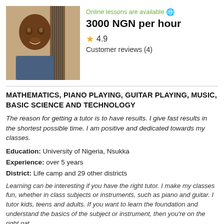[Figure (photo): Profile photo of a young man smiling with a guitar visible behind him, wearing a checkered shirt]
Online lessons are available 🌐
3000 NGN per hour
⭐ 4.9
Customer reviews (4)
MATHEMATICS, PIANO PLAYING, GUITAR PLAYING, MUSIC, BASIC SCIENCE AND TECHNOLOGY
The reason for getting a tutor is to have results. I give fast results in the shortest possible time. I am positive and dedicated towards my classes.
Education: University of Nigeria, Nsukka
Experience: over 5 years
District: Life camp and 29 other districts
Learning can be interesting if you have the right tutor. I make my classes fun, whether in class subjects or instruments, such as piano and guitar. I tutor kids, teens and adults. If you want to learn the foundation and understand the basics of the subject or instrument, then you're on the right pat...
Contact tutor»